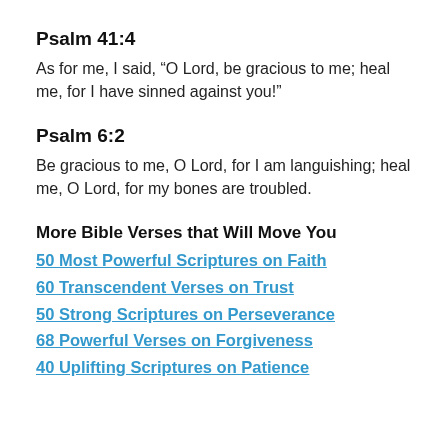Psalm 41:4
As for me, I said, “O Lord, be gracious to me; heal me, for I have sinned against you!”
Psalm 6:2
Be gracious to me, O Lord, for I am languishing; heal me, O Lord, for my bones are troubled.
More Bible Verses that Will Move You
50 Most Powerful Scriptures on Faith
60 Transcendent Verses on Trust
50 Strong Scriptures on Perseverance
68 Powerful Verses on Forgiveness
40 Uplifting Scriptures on Patience